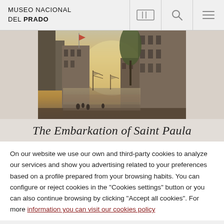MUSEO NACIONAL DEL PRADO
[Figure (photo): A classical harbour scene painting showing ships, tall buildings/ruins, columns, and trees with a misty golden sky — The Embarkation of Saint Paula by Claude Lorrain]
The Embarkation of Saint Paula
On our website we use our own and third-party cookies to analyze our services and show you advertising related to your preferences based on a profile prepared from your browsing habits. You can configure or reject cookies in the "Cookies settings" button or you can also continue browsing by clicking "Accept all cookies". For more information you can visit our cookies policy